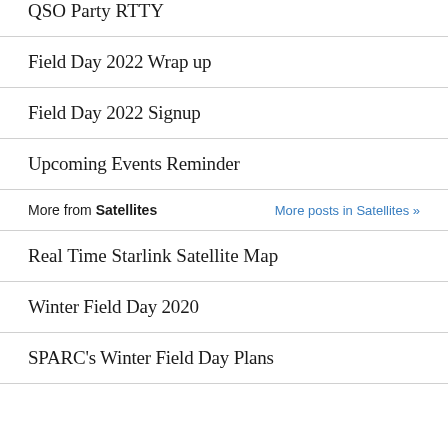QSO Party RTTY
Field Day 2022 Wrap up
Field Day 2022 Signup
Upcoming Events Reminder
More from Satellites
Real Time Starlink Satellite Map
Winter Field Day 2020
SPARC's Winter Field Day Plans